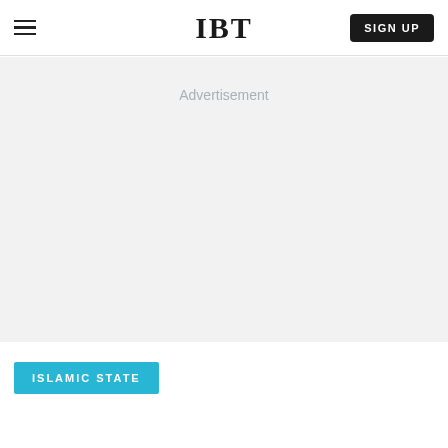IBT
Advertisement
ISLAMIC STATE